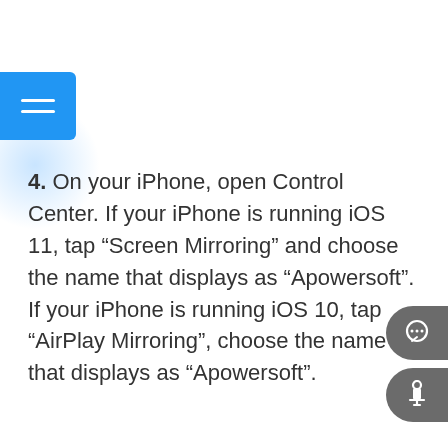[Figure (other): Blue hamburger menu button on left edge, with a light blue radial glow below it]
4. On your iPhone, open Control Center. If your iPhone is running iOS 11, tap “Screen Mirroring” and choose the name that displays as “Apowersoft”. If your iPhone is running iOS 10, tap “AirPlay Mirroring”, choose the name that displays as “Apowersoft”.
[Figure (other): Two dark gray rounded pill-shaped icon buttons on the right edge: a chat/comment icon and a notification/bell icon]